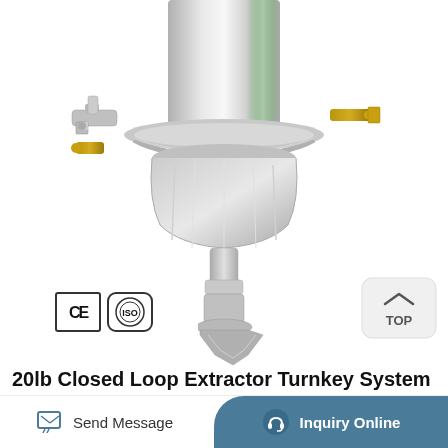[Figure (photo): Close-up photo of a stainless steel 20lb closed loop extractor component showing the lower assembly with tri-clamp connections, brass fittings on both sides, a polished cylindrical body, and a valve at the bottom. CE and ISO certification badges visible in lower left.]
20lb Closed Loop Extractor Turnkey System For Sale
Send Message
Inquiry Online